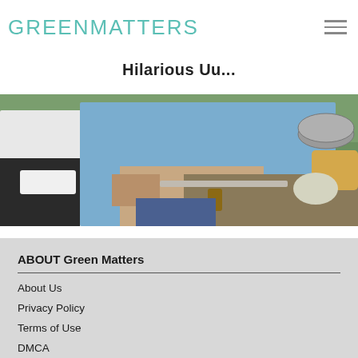GREENMATTERS
Hilarious Uu...
[Figure (photo): Two people preparing food outdoors; one wearing a white chef's coat, the other in a blue shirt, with vegetables and kitchen items on a table with green nature in the background.]
ABOUT Green Matters
About Us
Privacy Policy
Terms of Use
DMCA